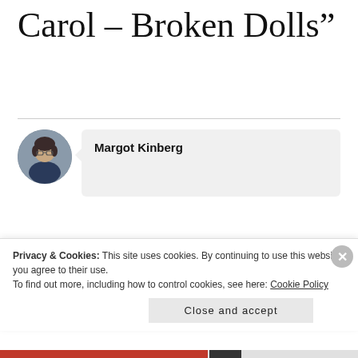Carol – Broken Dolls”
[Figure (photo): Circular avatar photo of a woman with short dark hair and glasses, wearing a dark blue top.]
Margot Kinberg
Sarah – This one would be a departure for me, too, as I don’t usually read serial killer/criminal profiler
Privacy & Cookies: This site uses cookies. By continuing to use this website, you agree to their use.
To find out more, including how to control cookies, see here: Cookie Policy
Close and accept